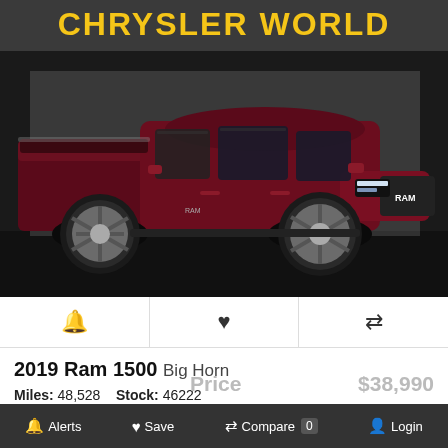CHRYSLER WORLD
[Figure (photo): Dark red/maroon 2019 Ram 1500 Big Horn pickup truck parked in a showroom/lot, viewed from the front-left side angle, showing chrome wheels, LED headlights, and RAM grille.]
🔔  ♥  ⇄
2019 Ram 1500 Big Horn
Miles: 48,528   Stock: 46222
Price  $38,990
Alerts   Save   Compare 0   Login